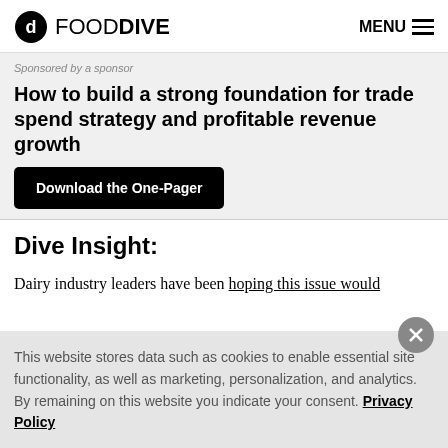FOOD DIVE  MENU
Sponsored by a sponsor
How to build a strong foundation for trade spend strategy and profitable revenue growth
Download the One-Pager
Dive Insight:
Dairy industry leaders have been hoping this issue would
This website stores data such as cookies to enable essential site functionality, as well as marketing, personalization, and analytics. By remaining on this website you indicate your consent. Privacy Policy